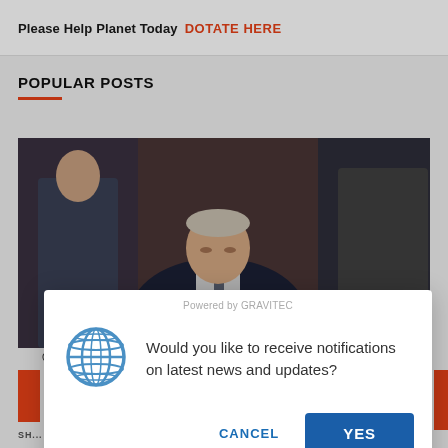Please Help Planet Today DOTATE HERE
POPULAR POSTS
[Figure (photo): Photo of an older man in a dark suit with a tie, leaning forward and looking down, surrounded by other people in formal attire. The image is cropped and darkened.]
Powered by GRAVITEC
Would you like to receive notifications on latest news and updates?
CANCEL
YES